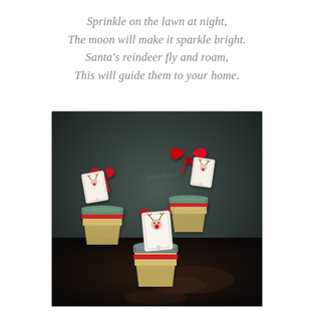Sprinkle on the lawn at night,
The moon will make it sparkle bright.
Santa's reindeer fly and roam,
This will guide them to your home.
[Figure (photo): Four small clear plastic cups/jars filled with a granular mixture (reindeer food/oats), each tied with a red ribbon bow and a small gift tag featuring a reindeer illustration, arranged on a dark surface.]